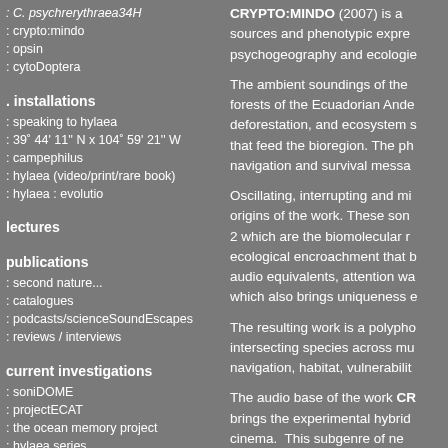: C. psychrerythraea34H
: crypto:mindo
: opsin
: cytoDoptera
. installations
: speaking to hylaea
: 39˚ 44' 11'' N x 104˚ 59' 21'' W
: campephilus
: hylaea (video/print/rare book)
: hylaea : evolutio
lectures
publications
: second nature...
: catalogues
: podcasts/scienceSoundEscapes
: reviews / interviews
current investigations
: soniDOME
: projectECAT
: the ocean memory project
: hylaea series
: biological narrative
: tools for life cinema
: field research & expeditions
archive/web works
: primamateria
: macrocosm
CRYPTO:MINDO (2007) is a... sources and phenotypic expre... psychogeography and ecologie...
The ambient soundings of the forests of the Ecuadorian Ande deforestation, and ecosystem s that feed the bioregion. The ph navigation and survival messa
Oscillating, interrupting and mi origins of the work. These son 2 which are the biomolecular r ecological encroachment that b audio equivalents, attention wa which also brings uniqueness e
The resulting work is a polypho intersecting species across mu navigation, habitat, vulnerabilit
The audio base of the work CR brings the experimental hybrid cinema."  This subgenre of ne output of live cinema and the b to deliver sonic derivatives and